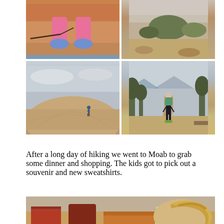[Figure (photo): Partial photo at top-left showing child's legs and blue shoes on red rock]
[Figure (photo): Partial photo at top-right showing desert scrub landscape in Moab]
[Figure (photo): Hiking photo showing person standing on large red rock dome with cloudy sky]
[Figure (photo): Hiking photo showing child with backpack walking on desert trail lined with juniper trees]
After a long day of hiking we went to Moab to grab some dinner and shopping. The kids got to pick out a souvenir and new sweatshirts.
[Figure (photo): Restaurant photo showing child at wooden table with orange/red chairs, blond child in foreground]